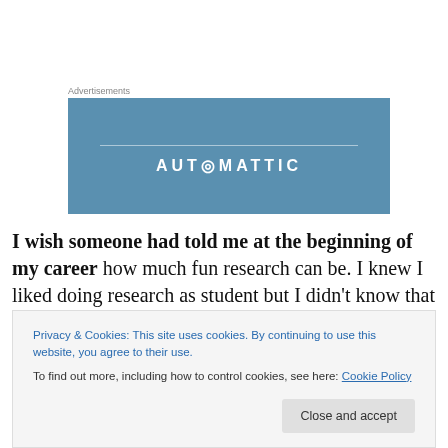Advertisements
[Figure (logo): Automattic advertisement banner — blue background with white horizontal line above the text 'AUTOMATTIC' in white bold spaced letters]
I wish someone had told me at the beginning of my career how much fun research can be. I knew I liked doing research as student but I didn't know that I would still enjoy it so much more than 40 years later. As a faculty member you have a LOT of demands on your scarce time
Privacy & Cookies: This site uses cookies. By continuing to use this website, you agree to their use.
To find out more, including how to control cookies, see here: Cookie Policy
Close and accept